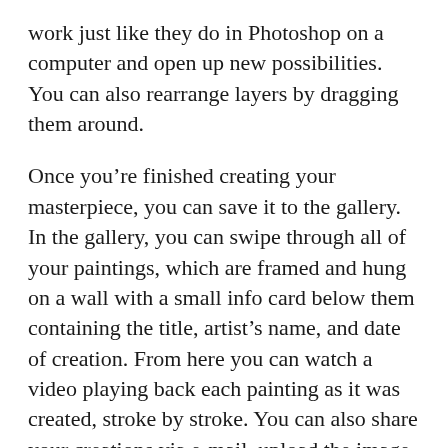work just like they do in Photoshop on a computer and open up new possibilities. You can also rearrange layers by dragging them around.
Once you’re finished creating your masterpiece, you can save it to the gallery. In the gallery, you can swipe through all of your paintings, which are framed and hung on a wall with a small info card below them containing the title, artist’s name, and date of creation. From here you can watch a video playing back each painting as it was created, stroke by stroke. You can also share your creations via e-mail, upload the image to Flickr or just copy or save it to your iPad’s photo library.
Brushes iPad Edition is a fantastic painting app. With all the new features and the large screen of the iPad, it’s one of the most intuitive and exciting ways